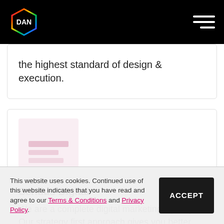DAN navigation bar with logo and hamburger menu
the highest standard of design & execution.
[Figure (logo): Sentius Digital logo placeholder — pink/mauve square]
Sentius Digital
We are a complete digital marketing agency. Our strategy first approach gives you better results online.
This website uses cookies. Continued use of this website indicates that you have read and agree to our Terms & Conditions and Privacy Policy.